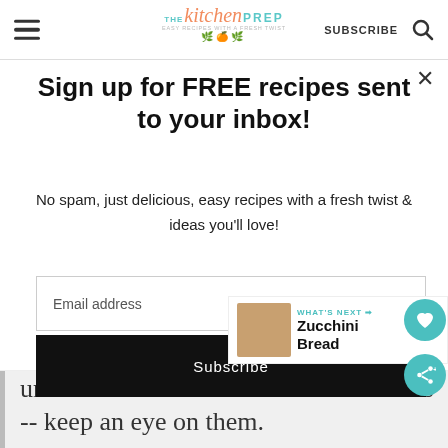The Kitchen Prep — SUBSCRIBE
Sign up for FREE recipes sent to your inbox!
No spam, just delicious, easy recipes with a fresh twist & ideas you'll love!
Email address
Subscribe
WHAT'S NEXT → Zucchini Bread
under broiler to toast the marshmallows -- keep an eye on them.